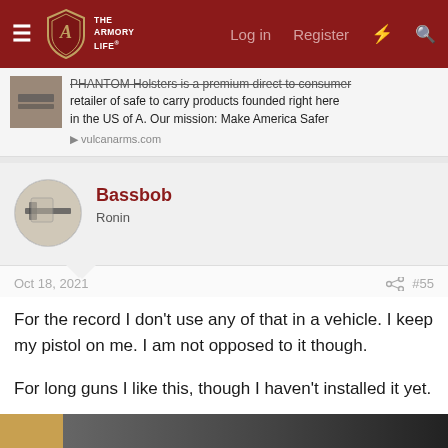THE ARMORY LIFE — Log in | Register
PHANTOM Holsters is a premium direct to consumer retailer of safe to carry products founded right here in the US of A. Our mission: Make America Safer
vulcanarms.com
Bassbob
Ronin
Oct 18, 2021   #55
For the record I don't use any of that in a vehicle. I keep my pistol on me. I am not opposed to it though.

For long guns I like this, though I haven't installed it yet.
[Figure (photo): Bottom strip showing partial image, tan/brown on left and dark colors on right]